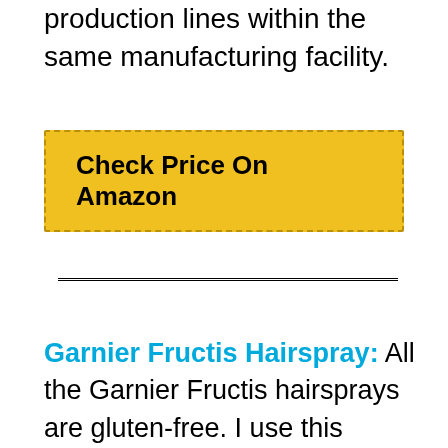production lines within the same manufacturing facility.
[Figure (other): Yellow dashed-border button labeled 'Check Price On Amazon']
Garnier Fructis Hairspray: All the Garnier Fructis hairsprays are gluten-free. I use this brand for my hairspray, and I love it. Well, love may be a strong word. Let's say I'm a